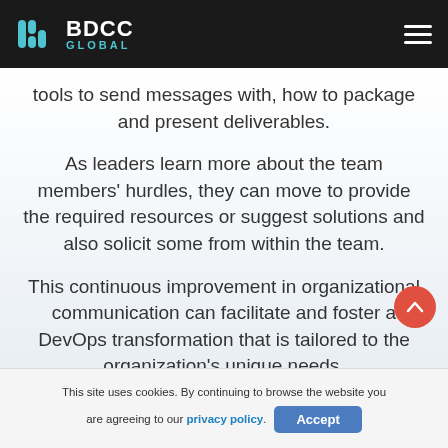BDCC GLOBAL
tools to send messages with, how to package and present deliverables.
As leaders learn more about the team members' hurdles, they can move to provide the required resources or suggest solutions and also solicit some from within the team.
This continuous improvement in organizational communication can facilitate and foster a DevOps transformation that is tailored to the organization's unique needs.
Reinforced...
This site uses cookies. By continuing to browse the website you are agreeing to our privacy policy.